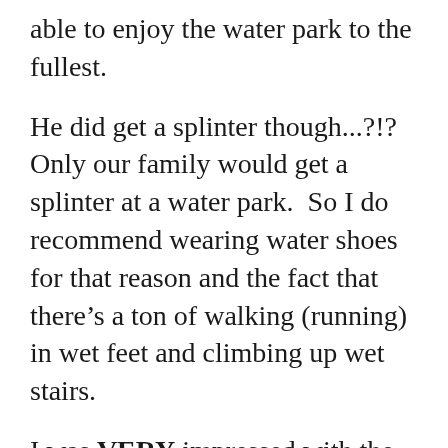able to enjoy the water park to the fullest.
He did get a splinter though...?!?  Only our family would get a splinter at a water park.  So I do recommend wearing water shoes for that reason and the fact that there’s a ton of walking (running) in wet feet and climbing up wet stairs.
I was VERY impressed with the lifeguards.  They were of typical lifeguard age but they were ON IT!  They were actively watching and engaged and pacing to keep tabs on everyone.  I am always disappointed by